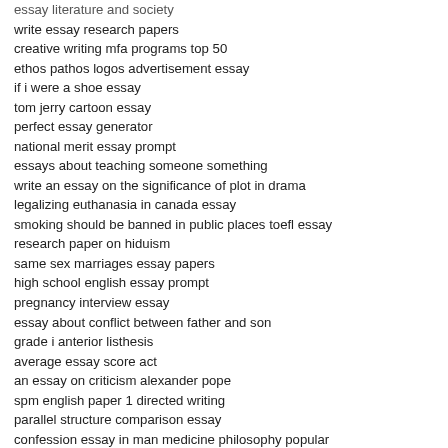essay literature and society
write essay research papers
creative writing mfa programs top 50
ethos pathos logos advertisement essay
if i were a shoe essay
tom jerry cartoon essay
perfect essay generator
national merit essay prompt
essays about teaching someone something
write an essay on the significance of plot in drama
legalizing euthanasia in canada essay
smoking should be banned in public places toefl essay
research paper on hiduism
same sex marriages essay papers
high school english essay prompt
pregnancy interview essay
essay about conflict between father and son
grade i anterior listhesis
average essay score act
an essay on criticism alexander pope
spm english paper 1 directed writing
parallel structure comparison essay
confession essay in man medicine philosophy popular
essays on depression and exercise